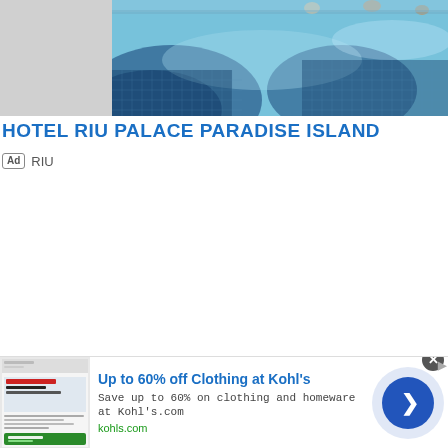[Figure (photo): Aerial or close-up view of a luxury hotel swimming pool with mosaic tile patterns in blue, showing water and pool area with people in the background. Left and right flanking areas are gray (page background).]
HOTEL RIU PALACE PARADISE ISLAND
Ad  RIU
[Figure (screenshot): Advertisement banner for Kohl's: 'Up to 60% off Clothing at Kohl's' with thumbnail image of Kohl's savings ad, description 'Save up to 60% on clothing and homeware at Kohl's.com', URL 'kohls.com', a close button (X), next arrow button, and an ad label icon.]